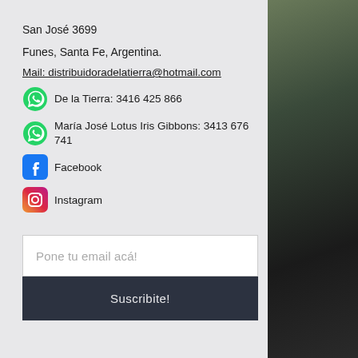San José 3699
Funes, Santa Fe, Argentina.
Mail: distribuidoradelatierra@hotmail.com
De la Tierra: 3416 425 866
María José Lotus Iris Gibbons: 3413 676 741
Facebook
Instagram
Pone tu email acá!
Suscribite!